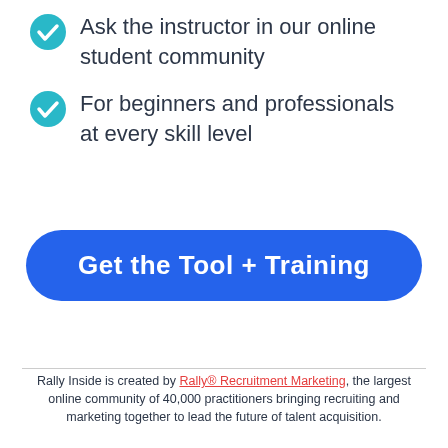Ask the instructor in our online student community
For beginners and professionals at every skill level
Get the Tool + Training
Rally Inside is created by Rally® Recruitment Marketing, the largest online community of 40,000 practitioners bringing recruiting and marketing together to lead the future of talent acquisition.